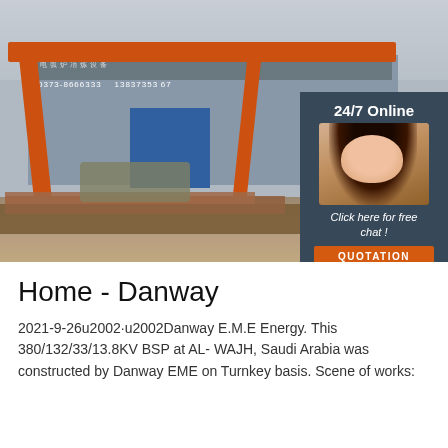[Figure (photo): Industrial factory/manufacturing facility with orange gantry crane, steel structural beams in foreground, building facade with Chinese text and phone numbers in background. Overlay box shows '24/7 Online' text, customer service agent photo, 'Click here for free chat!' text, and orange QUOTATION button.]
Home - Danway
2021-9-26u2002·u2002Danway E.M.E Energy. This 380/132/33/13.8KV BSP at AL- WAJH, Saudi Arabia was constructed by Danway EME on Turnkey basis. Scene of works: